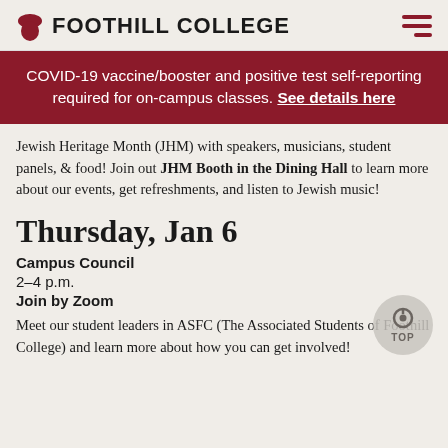FOOTHILL COLLEGE
COVID-19 vaccine/booster and positive test self-reporting required for on-campus classes. See details here
Jewish Heritage Month (JHM) with speakers, musicians, student panels, & food! Join out JHM Booth in the Dining Hall to learn more about our events, get refreshments, and listen to Jewish music!
Thursday, Jan 6
Campus Council
2–4 p.m.
Join by Zoom
Meet our student leaders in ASFC (The Associated Students of Foothill College) and learn more about how you can get involved!